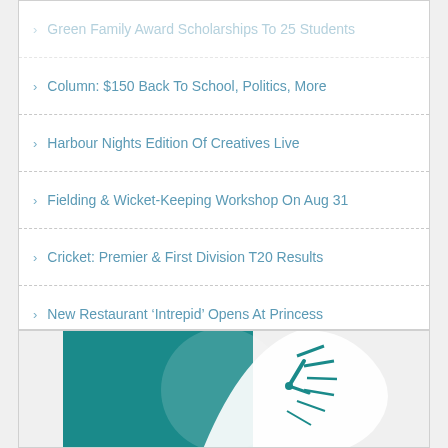Green Family Award Scholarships To 25 Students
Column: $150 Back To School, Politics, More
Harbour Nights Edition Of Creatives Live
Fielding & Wicket-Keeping Workshop On Aug 31
Cricket: Premier & First Division T20 Results
New Restaurant ‘Intrepid’ Opens At Princess
Bermuda Is Love #NoNewClothes Campaign
Video: Nia Christopher Scores In Towson Win
[Figure (illustration): Teal background with white stylized bird/logo illustration on right side]